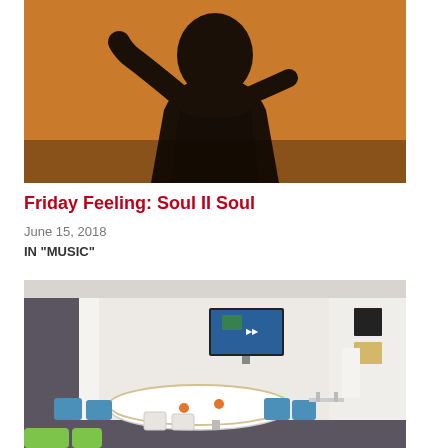[Figure (photo): An artistic/editorial photo with orange/amber background showing a dark silhouetted figure, possibly a musician, in dramatic pose]
Friday Feeling: Soul II Soul
June 15, 2018
IN "MUSIC"
[Figure (photo): Interior photo of a modern library or learning commons space with white oval tables, blue chairs, a TV screen mounted on wall, and white walls with artwork]